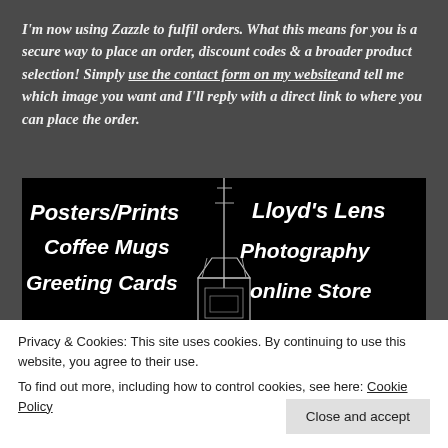I'm now using Zazzle to fulfil orders. What this means for you is a secure way to place an order, discount codes & a broader product selection! Simply use the contact form on my website and tell me which image you want and I'll reply with a direct link to where you can place the order.
[Figure (illustration): Black background promotional banner for Lloyd's Lens Photography online Store showing a lighthouse/tower image in the center. Left side lists: Posters/Prints, Coffee Mugs, Greeting Cards. Right side reads: Lloyd's Lens Photography online Store.]
Privacy & Cookies: This site uses cookies. By continuing to use this website, you agree to their use.
To find out more, including how to control cookies, see here: Cookie Policy
Close and accept